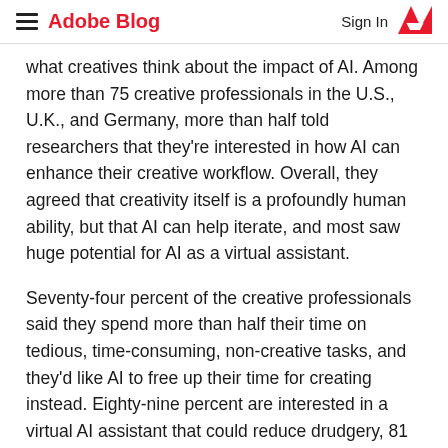Adobe Blog  Sign In
what creatives think about the impact of AI. Among more than 75 creative professionals in the U.S., U.K., and Germany, more than half told researchers that they're interested in how AI can enhance their creative workflow. Overall, they agreed that creativity itself is a profoundly human ability, but that AI can help iterate, and most saw huge potential for AI as a virtual assistant.
Seventy-four percent of the creative professionals said they spend more than half their time on tedious, time-consuming, non-creative tasks, and they'd like AI to free up their time for creating instead. Eighty-nine percent are interested in a virtual AI assistant that could reduce drudgery, 81 percent would try AI to learn new features,